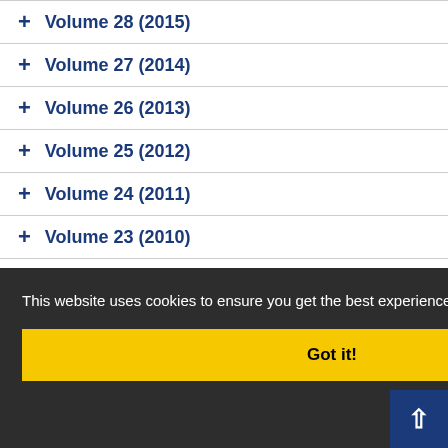+ Volume 28 (2015)
+ Volume 27 (2014)
+ Volume 26 (2013)
+ Volume 25 (2012)
+ Volume 24 (2011)
+ Volume 23 (2010)
+ Volume 22 (2009)
+ Volume 21 (2008)
This website uses cookies to ensure you get the best experience on our website.
Got it!
+ Volume 16 (2003)